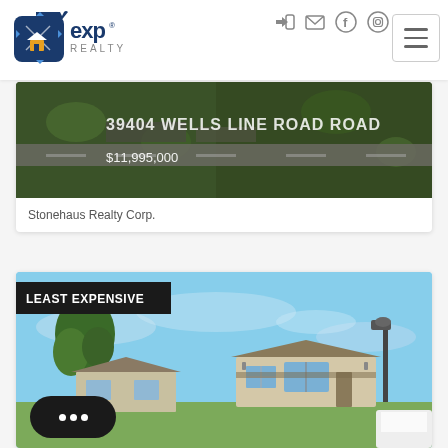[Figure (logo): eXp Realty logo - blue star/compass shape with house icon, and 'exp REALTY' text in blue and gray]
[Figure (photo): Aerial view of 39404 Wells Line Road property, dark green landscape with road, property listed at $11,995,000]
39404 WELLS LINE ROAD ROAD
$11,995,000
Stonehaus Realty Corp.
[Figure (photo): Photo of a manufactured/mobile home with blue sky, trees, streetlight, labeled LEAST EXPENSIVE]
LEAST EXPENSIVE